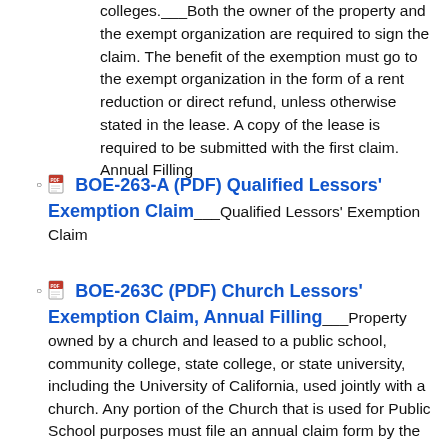colleges.___Both the owner of the property and the exempt organization are required to sign the claim. The benefit of the exemption must go to the exempt organization in the form of a rent reduction or direct refund, unless otherwise stated in the lease. A copy of the lease is required to be submitted with the first claim. Annual Filling
BOE-263-A (PDF) Qualified Lessors' Exemption Claim___Qualified Lessors' Exemption Claim
BOE-263C (PDF) Church Lessors' Exemption Claim, Annual Filling___Property owned by a church and leased to a public school, community college, state college, or state university, including the University of California, used jointly with a church. Any portion of the Church that is used for Public School purposes must file an annual claim form by the Church/Lessor.___The Public School or College must also file the Public School or College affidavit. Public School or College would also file the Public School or College